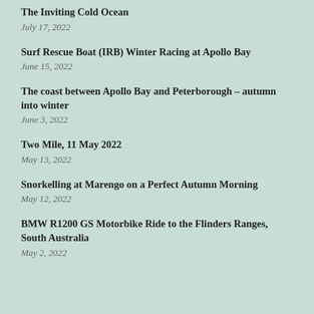The Inviting Cold Ocean
July 17, 2022
Surf Rescue Boat (IRB) Winter Racing at Apollo Bay
June 15, 2022
The coast between Apollo Bay and Peterborough – autumn into winter
June 3, 2022
Two Mile, 11 May 2022
May 13, 2022
Snorkelling at Marengo on a Perfect Autumn Morning
May 12, 2022
BMW R1200 GS Motorbike Ride to the Flinders Ranges, South Australia
May 2, 2022